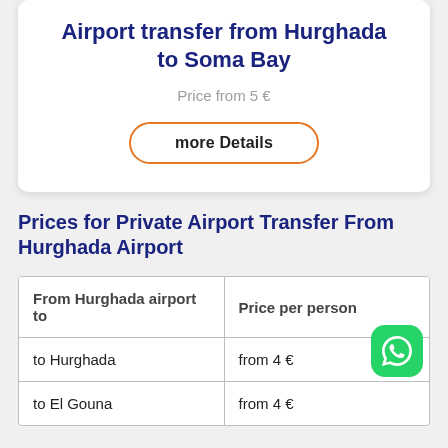Airport transfer from Hurghada to Soma Bay
Price from 5 €
more Details
Prices for Private Airport Transfer From Hurghada Airport
| From Hurghada airport to | Price per person |
| --- | --- |
| to Hurghada | from 4 € |
| to El Gouna | from 4 € |